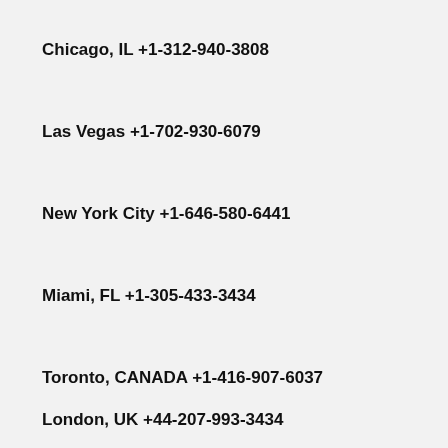Chicago, IL +1-312-940-3808
Las Vegas +1-702-930-6079
New York City +1-646-580-6441
Miami, FL +1-305-433-3434
Toronto, CANADA +1-416-907-6037
London, UK +44-207-993-3434